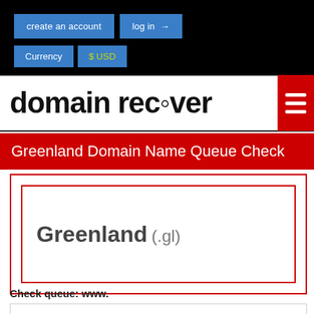create an account   log in
Currency   $ USD
domain recover
Greenland Domain Name Queue Check
Greenland (.gl)
Check queue: www.